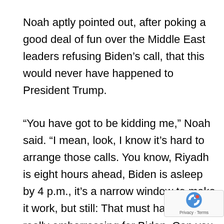Noah aptly pointed out, after poking a good deal of fun over the Middle East leaders refusing Biden’s call, that this would never have happened to President Trump.
“You have got to be kidding me,” Noah said. “I mean, look, I know it’s hard to arrange those calls. You know, Riyadh is eight hours ahead, Biden is asleep by 4 p.m., it’s a narrow window to make it work, but still: That must have been really embarrassing for Biden. Can you ima He phones them and they don’t pick up?”